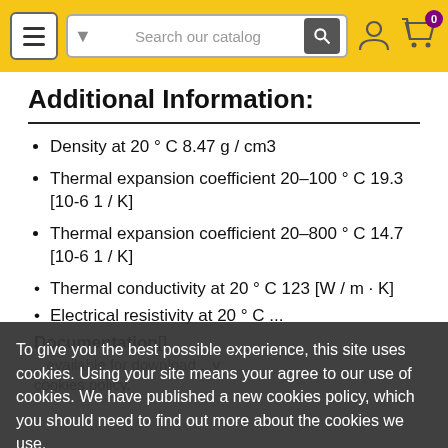Navigation bar with hamburger menu, search field, user icon, and cart icon (badge: 0)
Additional Information:
Density at 20 ° C 8.47 g / cm3
Thermal expansion coefficient 20–100 ° C 19.3 [10-6 1 / K]
Thermal expansion coefficient 20–800 ° C 14.7 [10-6 1 / K]
Thermal conductivity at 20 ° C 123 [W / m · K]
Electrical resistivity at 20 ° C ...
Documentation[]
To give you the best possible experience, this site uses cookies. Using your site means your agree to our use of cookies. We have published a new cookies policy, which you should need to find out more about the cookies we use.
cookies policy.
Accept | Customise Cookies